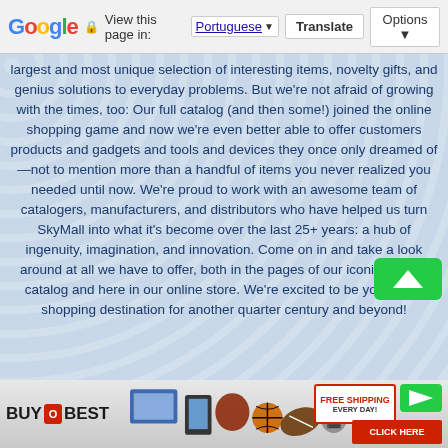Google — View this page in: Portuguese | Translate | Options
largest and most unique selection of interesting items, novelty gifts, and genius solutions to everyday problems. But we're not afraid of growing with the times, too: Our full catalog (and then some!) joined the online shopping game and now we're even better able to offer customers products and gadgets and tools and devices they once only dreamed of—not to mention more than a handful of items you never realized you needed until now. We're proud to work with an awesome team of catalogers, manufacturers, and distributors who have helped us turn SkyMall into what it's become over the last 25+ years: a hub of ingenuity, imagination, and innovation. Come on in and take a look around at all we have to offer, both in the pages of our iconic in-flight catalog and here in our online store. We're excited to be your go-to shopping destination for another quarter century and beyond!
[Figure (screenshot): BuyOBest banner advertisement with free shipping offer and click here button]